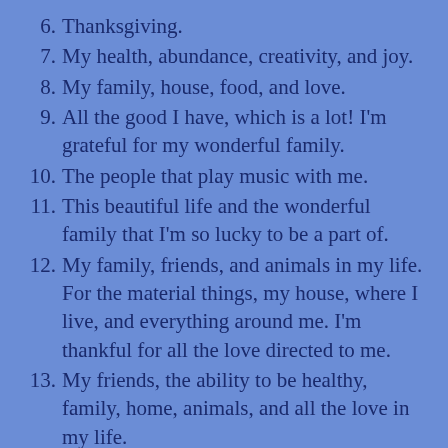6. Thanksgiving.
7. My health, abundance, creativity, and joy.
8. My family, house, food, and love.
9. All the good I have, which is a lot! I'm grateful for my wonderful family.
10. The people that play music with me.
11. This beautiful life and the wonderful family that I'm so lucky to be a part of.
12. My family, friends, and animals in my life. For the material things, my house, where I live, and everything around me. I'm thankful for all the love directed to me.
13. My friends, the ability to be healthy, family, home, animals, and all the love in my life.
14. Hugs and helping people.
15. My beautiful family, my health, my home,